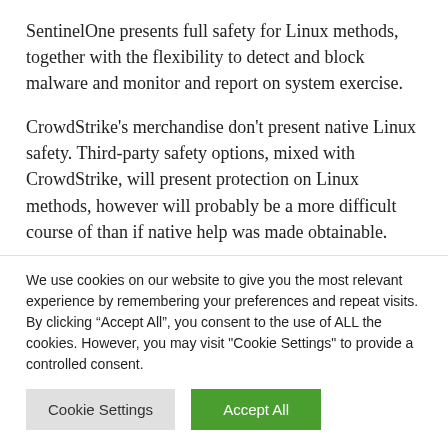SentinelOne presents full safety for Linux methods, together with the flexibility to detect and block malware and monitor and report on system exercise.
CrowdStrike's merchandise don't present native Linux safety. Third-party safety options, mixed with CrowdStrike, will present protection on Linux methods, however will probably be a more difficult course of than if native help was made obtainable.
We use cookies on our website to give you the most relevant experience by remembering your preferences and repeat visits. By clicking "Accept All", you consent to the use of ALL the cookies. However, you may visit "Cookie Settings" to provide a controlled consent.